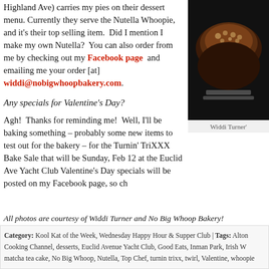Highland Ave) carries my pies on their dessert menu. Currently they serve the Nutella Whoopie, and it's their top selling item.  Did I mention I make my own Nutella?  You can also order from me by checking out my Facebook page and emailing me your order [at] widdi@nobigwhoopbakery.com.
[Figure (photo): Photo of chocolate whoopie pies with nuts on top, on a dark background]
Widdi Turner'
Any specials for Valentine's Day?
Agh!  Thanks for reminding me!  Well, I'll be baking something – probably some new items to test out for the bakery – for the Turnin' TriXXX Bake Sale that will be Sunday, Feb 12 at the Euclid Ave Yacht Club Valentine's Day specials will be posted on my Facebook page, so ch
All photos are courtesy of Widdi Turner and No Big Whoop Bakery!
Category: Kool Kat of the Week, Wednesday Happy Hour & Supper Club | Tags: Alton Cooking Channel, desserts, Euclid Avenue Yacht Club, Good Eats, Inman Park, Irish W matcha tea cake, No Big Whoop, Nutella, Top Chef, turnin trixx, twirl, Valentine, whoopie